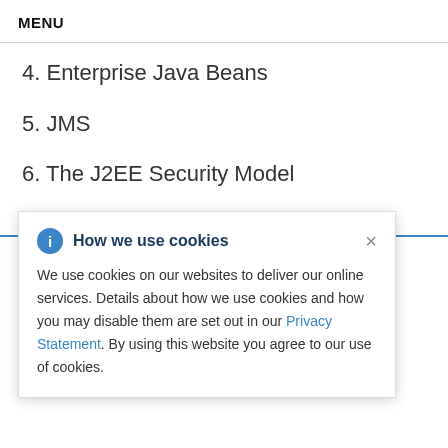MENU
4. Enterprise Java Beans
5. JMS
6. The J2EE Security Model
[Figure (screenshot): Cookie consent popup dialog with info icon, title 'How we use cookies', body text about cookie usage and a Privacy Statement link, and a close X button]
required. This training is based on the 4.x series of